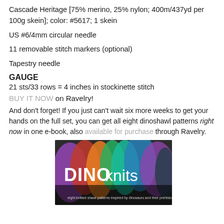Cascade Heritage [75% merino, 25% nylon; 400m/437yd per 100g skein]; color: #5617; 1 skein
US #6/4mm circular needle
11 removable stitch markers (optional)
Tapestry needle
GAUGE
21 sts/33 rows = 4 inches in stockinette stitch
BUY IT NOW on Ravelry!
And don't forget! If you just can't wait six more weeks to get your hands on the full set, you can get all eight dinoshawl patterns right now in one e-book, also available for purchase through Ravelry.
[Figure (photo): DINO knits book cover - colored knitted shawls with text 'eight knitted shawl patterns inspired by dinosaurs and their prehistoric pals']